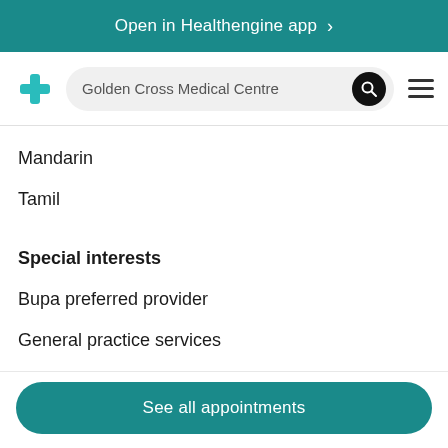Open in Healthengine app >
[Figure (screenshot): Healthengine app navigation bar with logo, search box showing 'Golden Cross Medical Centre', search button, and hamburger menu]
Mandarin
Tamil
Special interests
Bupa preferred provider
General practice services
See all appointments